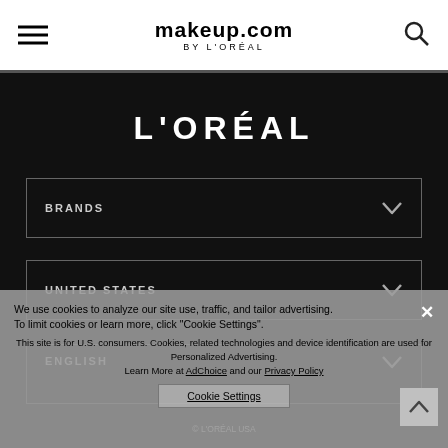makeup.com BY L'ORÉAL
[Figure (logo): L'ORÉAL brand logo in white text on black background]
BRANDS
UNITED STATES
ENGLISH
We use cookies to analyze our site use, traffic, and tailor advertising. To limit cookies or learn more, click "Cookie Settings".
This site is for U.S. consumers. Cookies, related technologies and device identification are used for Personalized Advertising. Learn More at AdChoice and our Privacy Policy
Cookie Settings
© L'ORÉAL USA